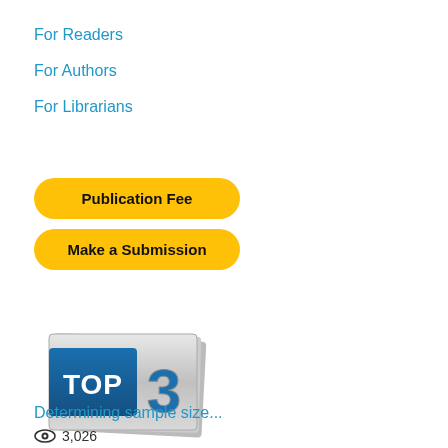For Readers
For Authors
For Librarians
[Figure (other): Yellow rounded button labeled 'Publication Fee']
[Figure (other): Yellow rounded button labeled 'Make a Submission']
[Figure (other): TOP 3 badge logo with blue rectangle labeled TOP and metallic 3D number 3]
Determining sample size...
3,026